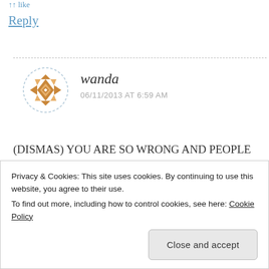like
Reply
wanda
06/11/2013 AT 6:59 AM
(DISMAS) YOU ARE SO WRONG AND PEOPLE LIKE YOU MAKE HATE IN THE WORLD .....I DON'T KNOW WHERE YOU GET YOUR INFO FROM BUT THIS IS
Privacy & Cookies: This site uses cookies. By continuing to use this website, you agree to their use.
To find out more, including how to control cookies, see here: Cookie Policy
Close and accept